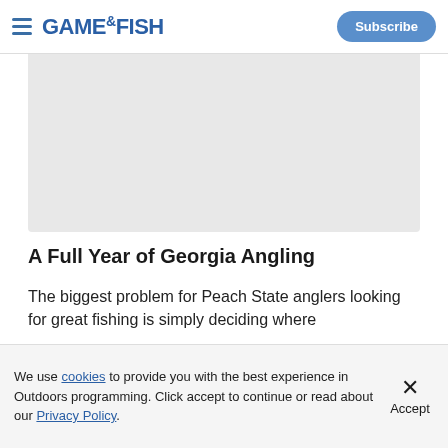GAME & FISH — Subscribe
[Figure (other): Gray placeholder image area for article thumbnail]
A Full Year of Georgia Angling
The biggest problem for Peach State anglers looking for great fishing is simply deciding where
[Figure (other): Advertisement strip with gun image, text 'Advertisement', 'MPANY THAT', 'PERFECTED THIS']
We use cookies to provide you with the best experience in Outdoors programming. Click accept to continue or read about our Privacy Policy.